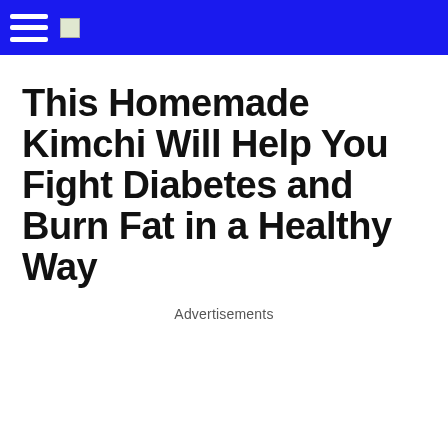This Homemade Kimchi Will Help You Fight Diabetes and Burn Fat in a Healthy Way
Advertisements